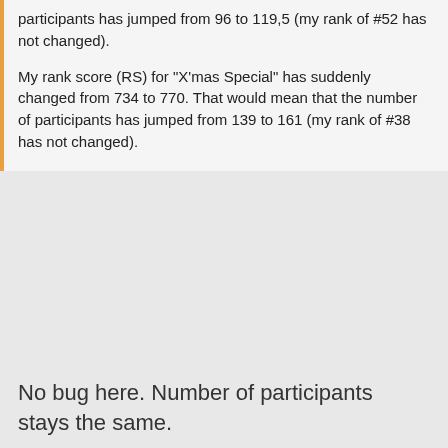participants has jumped from 96 to 119,5 (my rank of #52 has not changed).

My rank score (RS) for "X'mas Special" has suddenly changed from 734 to 770. That would mean that the number of participants has jumped from 139 to 161 (my rank of #38 has not changed).
No bug here. Number of participants stays the same.
debmohanty - 2011-06-03 8:45 PM
There are minor differences in computation in these 2 systems because of which we are seeing this difference.